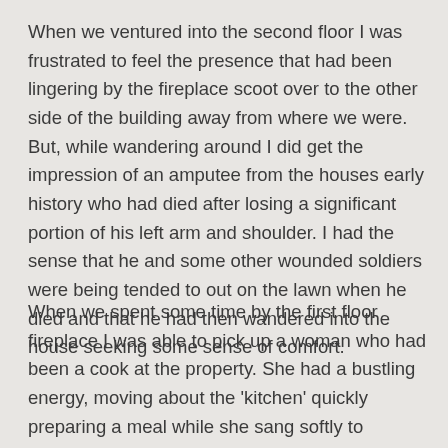When we ventured into the second floor I was frustrated to feel the presence that had been lingering by the fireplace scoot over to the other side of the building away from where we were. But, while wandering around I did get the impression of an amputee from the houses early history who had died after losing a significant portion of his left arm and shoulder. I had the sense that he and some other wounded soldiers were being tended to out on the lawn when he died and that he had then wandered into the house seeking some sense of comfort.
When we spent some time by the first floor fireplace I was able to pick up a woman who had been a cook at the property. She had a bustling energy, moving about the 'kitchen' quickly preparing a meal while she sang softly to herself. She wore a long skirt and apron with her hair tied up with a scarf and I had the impression that she sang in